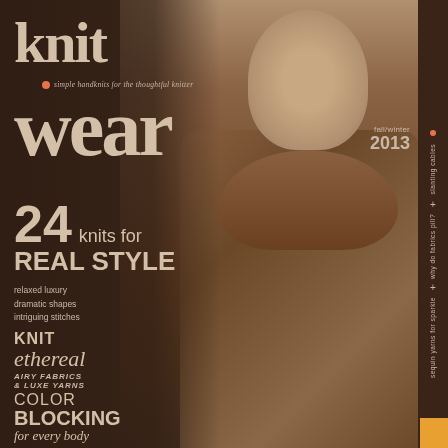knit wear
simple handknits for the thoughtful knitter
fall/winter 2013
[Figure (photo): Magazine cover showing a woman wearing a brown cowl-neck knit sweater against a dark brown background]
24 knits for REAL STYLE
relaxed luxury
dramatic shapes
intriguing stitches
KNIT ethereal AIRY FABRICS & LUXE YARNS
COLOR BLOCKING for every body
slanting cables + why do fabrics pill? + sequin yarns for sparkle